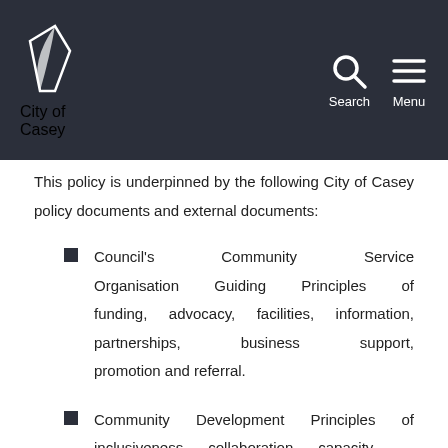City of Casey — Search Menu
This policy is underpinned by the following City of Casey policy documents and external documents:
Council's Community Service Organisation Guiding Principles of funding, advocacy, facilities, information, partnerships, business support, promotion and referral.
Community Development Principles of inclusiveness, collaboration, capacity